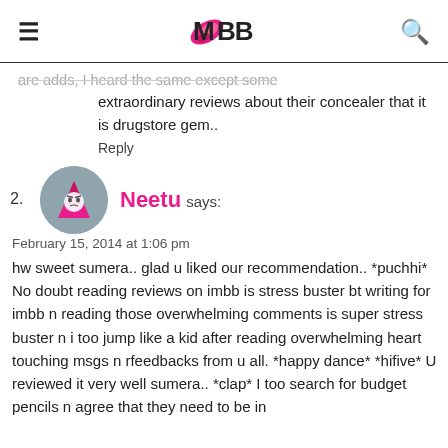IMBB
are adds, I heard the same except some extraordinary reviews about their concealer that it is drugstore gem..
Reply
2. Neetu says:
February 15, 2014 at 1:06 pm
hw sweet sumera.. glad u liked our recommendation.. *puchhi* No doubt reading reviews on imbb is stress buster bt writing for imbb n reading those overwhelming comments is super stress buster n i too jump like a kid after reading overwhelming heart touching msgs n rfeedbacks from u all. *happy dance* *hifive* U reviewed it very well sumera.. *clap* I too search for budget pencils n agree that they need to be in budget always..